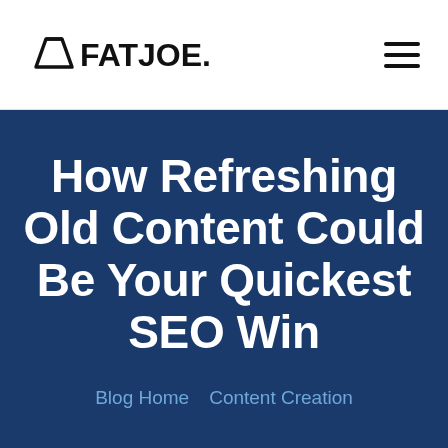FATJOE.
How Refreshing Old Content Could Be Your Quickest SEO Win
Blog Home  Content Creation